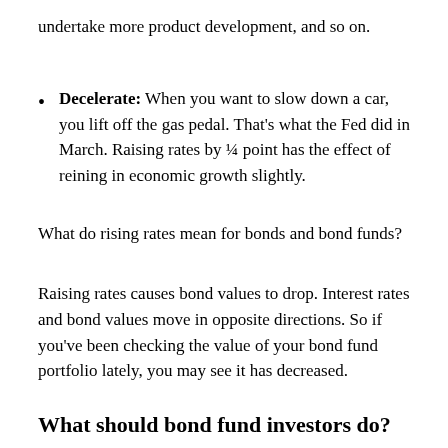undertake more product development, and so on.
Decelerate: When you want to slow down a car, you lift off the gas pedal. That's what the Fed did in March. Raising rates by ¼ point has the effect of reining in economic growth slightly.
What do rising rates mean for bonds and bond funds?
Raising rates causes bond values to drop. Interest rates and bond values move in opposite directions. So if you've been checking the value of your bond fund portfolio lately, you may see it has decreased.
What should bond fund investors do?